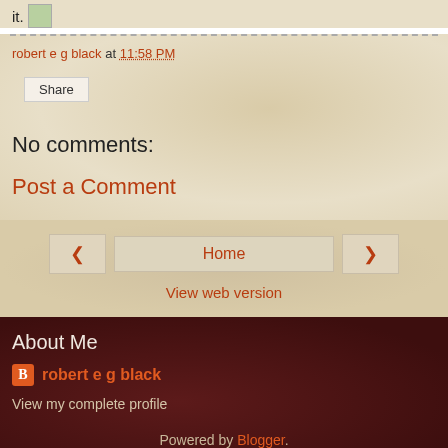it.
robert e g black at 11:58 PM
Share
No comments:
Post a Comment
< Home >
View web version
About Me
robert e g black
View my complete profile
Powered by Blogger.